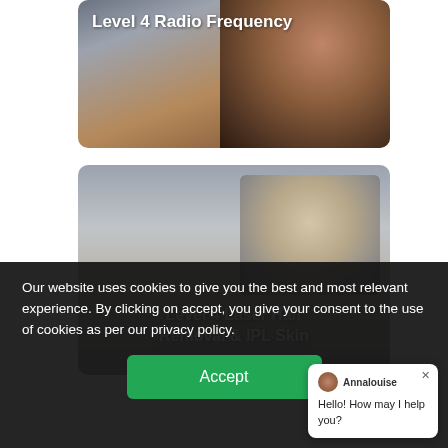[Figure (photo): A woman lying down receiving a beauty or skin treatment, with the title 'Level 4 Radio Frequency' overlaid in white text on a dark background.]
[Figure (photo): A beauty professional performing a laser hair removal or IPL skin treatment, with the title 'Level 4 Laser Hair Removal & IPL Skin' overlaid in white text.]
Our website uses cookies to give you the best and most relevant experience. By clicking on accept, you give your consent to the use of cookies as per our privacy policy.
Accept
Annalouise
Hello! How may I help you?